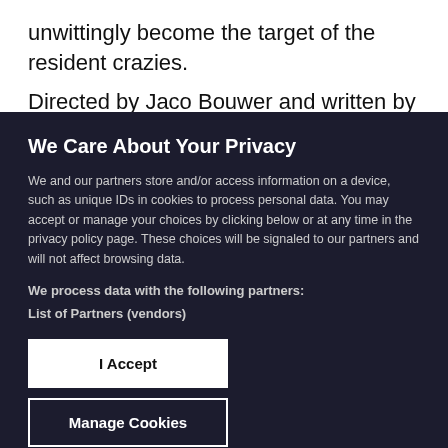unwittingly become the target of the resident crazies.
Directed by Jaco Bouwer and written by Tertius
We Care About Your Privacy
We and our partners store and/or access information on a device, such as unique IDs in cookies to process personal data. You may accept or manage your choices by clicking below or at any time in the privacy policy page. These choices will be signaled to our partners and will not affect browsing data.
We process data with the following partners:
List of Partners (vendors)
I Accept
Manage Cookies